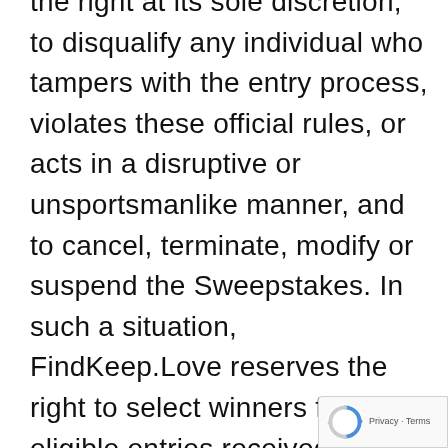the right at its sole discretion, to disqualify any individual who tampers with the entry process, violates these official rules, or acts in a disruptive or unsportsmanlike manner, and to cancel, terminate, modify or suspend the Sweepstakes. In such a situation, FindKeep.Love reserves the right to select winners from eligible entries received as of the termination date. Without limiting the foregoing, FindKeep.Love may reject any entrant, if in FindKeep.Love's sole judgment, the entrant has been disqualified, has questionable eligibility, or is otherwise ineligible to enter or participate
[Figure (logo): reCAPTCHA badge with spinning arrows logo and 'Privacy - Terms' text]